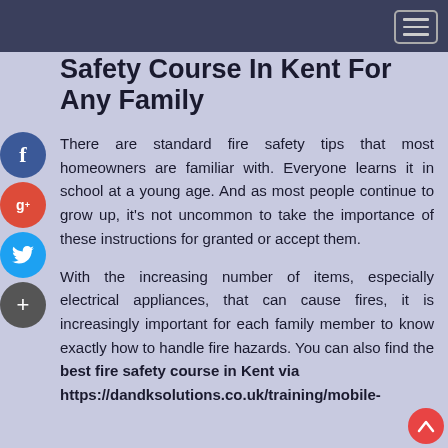Safety Course In Kent For Any Family
There are standard fire safety tips that most homeowners are familiar with. Everyone learns it in school at a young age. And as most people continue to grow up, it's not uncommon to take the importance of these instructions for granted or accept them.
With the increasing number of items, especially electrical appliances, that can cause fires, it is increasingly important for each family member to know exactly how to handle fire hazards. You can also find the best fire safety course in Kent via https://dandksolutions.co.uk/training/mobile-